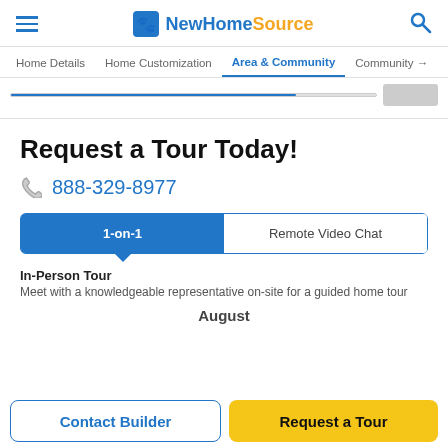NewHomeSource
Home Details | Home Customization | Area & Community | Community ...
Request a Tour Today!
888-329-8977
1-on-1 | Remote Video Chat
In-Person Tour
Meet with a knowledgeable representative on-site for a guided home tour
August
Contact Builder | Request a Tour